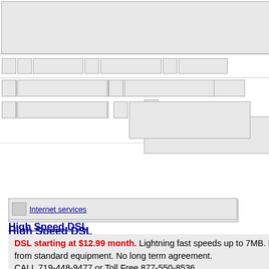[Figure (screenshot): Top navigation banner with broken image icons and Register Domain link]
[Figure (screenshot): Internet services navigation image]
High Speed DSL
DSL starting at $12.99 month. Lightning fast speeds up to 7MB. FREE Wireless equipment upgrade from standard equipment. No long term agreement.
CALL 719-448-9477 or Toll Free 877-550-8536
FREE Domain Registration and Web Hosting with the purchase of any SDSL or T1 Class package.
CHECK AVAILABILITY.
Dialup 56k/v90/ISDN
Unlimited Internet access nationwide. Filtered access, and static IP accounts also available.
Now starting at $7.99 a month
Surf the Internet 6 times faster with OffspringNet's Web Accelerator.
HIGH SP
$12.
FREE Wireless
FREE upgra
Month to Month
Nation Wide Unlimited a m
[Figure (screenshot): Bottom navigation image placeholder]